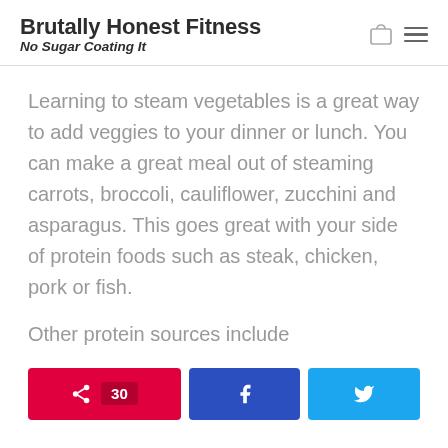Brutally Honest Fitness No Sugar Coating It
Learning to steam vegetables is a great way to add veggies to your dinner or lunch. You can make a great meal out of steaming carrots, broccoli, cauliflower, zucchini and asparagus. This goes great with your side of protein foods such as steak, chicken, pork or fish.
Other protein sources include
[Figure (screenshot): Social sharing buttons: Pinterest with count 30, Facebook, and Twitter]